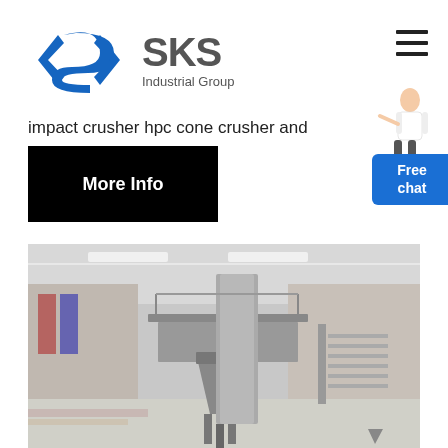[Figure (logo): SKS Industrial Group logo with blue diamond/arrow icon and grey SKS text]
impact crusher hpc cone crusher and
More Info
[Figure (photo): Industrial facility interior showing large cone crusher machinery on elevated platform with structural steel supports, inside a large warehouse/factory building]
[Figure (other): Free chat widget with person graphic]